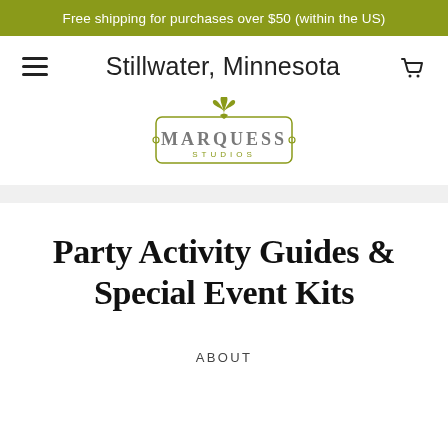Free shipping for purchases over $50 (within the US)
Stillwater, Minnesota
[Figure (logo): Marquess Studios logo with fleur-de-lis ornament and rectangular border]
Party Activity Guides & Special Event Kits
ABOUT